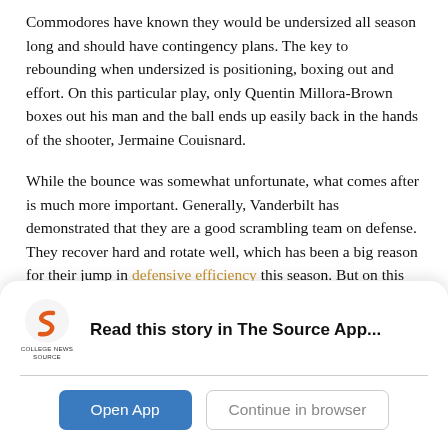Commodores have known they would be undersized all season long and should have contingency plans. The key to rebounding when undersized is positioning, boxing out and effort. On this particular play, only Quentin Millora-Brown boxes out his man and the ball ends up easily back in the hands of the shooter, Jermaine Couisnard.
While the bounce was somewhat unfortunate, what comes after is much more important. Generally, Vanderbilt has demonstrated that they are a good scrambling team on defense. They recover hard and rotate well, which has been a big reason for their jump in defensive efficiency this season. But on this particular play, the Commodores failed
[Figure (other): College News Source app promotional banner with logo, headline 'Read this story in The Source App...', Open App button, and Continue in browser button]